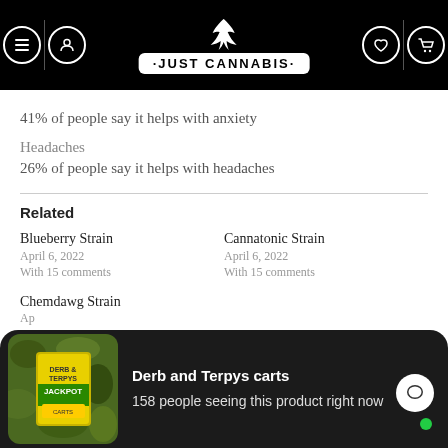JUST CANNABIS
41% of people say it helps with anxiety
Headaches
26% of people say it helps with headaches
Related
Blueberry Strain
April 6, 2022
With 15 comments
Cannatonic Strain
April 6, 2022
With 15 comments
Chemdawg Strain
Ap...
[Figure (photo): Derb and Terpys carts product image with green/yellow packaging on camouflage background]
Derb and Terpys carts
158 people seeing this product right now